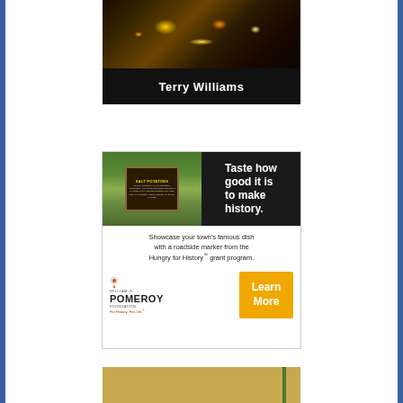[Figure (photo): Dark nighttime street scene with bright lights and storefronts, with a name bar reading 'Terry Williams' at the bottom]
[Figure (infographic): Pomeroy Foundation advertisement for Hungry for History grant program. Top half: photo of Salt Potatoes historical roadside marker on left, dark background with bold text 'Taste how good it is to make history.' on right. Bottom half: text 'Showcase your town's famous dish with a roadside marker from the Hungry for History™ grant program.' with Pomeroy Foundation logo and orange Learn More button.]
[Figure (photo): Partial bottom image, appears to show a tan/gold colored building or structure with a green vertical stripe element on the right]